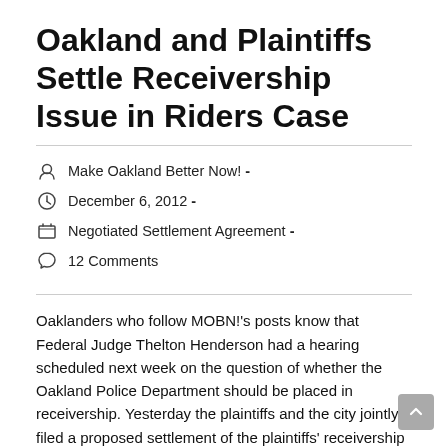Oakland and Plaintiffs Settle Receivership Issue in Riders Case
Make Oakland Better Now!  -
December 6, 2012  -
Negotiated Settlement Agreement  -
12 Comments
Oaklanders who follow MOBN!'s posts know that Federal Judge Thelton Henderson had a hearing scheduled next week on the question of whether the Oakland Police Department should be placed in receivership. Yesterday the plaintiffs and the city jointly filed a proposed settlement of the plaintiffs' receivership